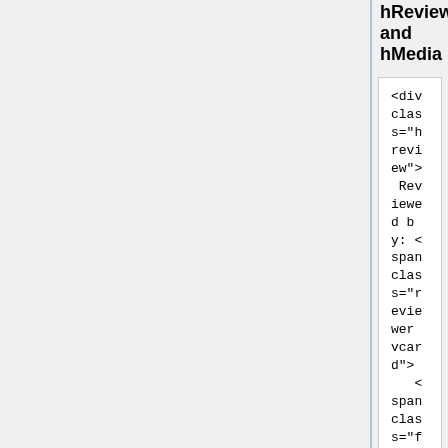hReview and hMedia
[Figure (screenshot): Code block showing HTML markup for hReview and hMedia microformats, including reviewer vcard, dtreviewed abbr, item hmedia div, and contributor vcard spans with a link to an mp3 file.]